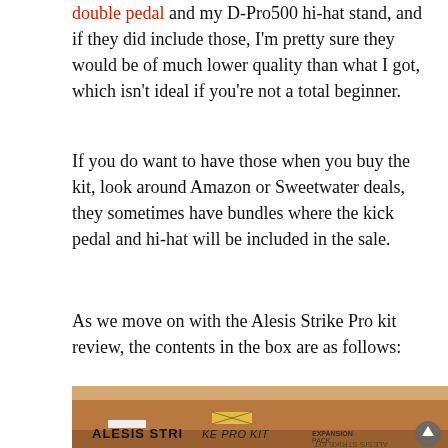double pedal and my D-Pro500 hi-hat stand, and if they did include those, I'm pretty sure they would be of much lower quality than what I got, which isn't ideal if you're not a total beginner.
If you do want to have those when you buy the kit, look around Amazon or Sweetwater deals, they sometimes have bundles where the kick pedal and hi-hat will be included in the sale.
As we move on with the Alesis Strike Pro kit review, the contents in the box are as follows:
[Figure (photo): Photo of an Alesis Strike Pro Kit Expansion Pack box, a large rectangular cardboard shipping box photographed from a slight angle, showing the branding on the side.]